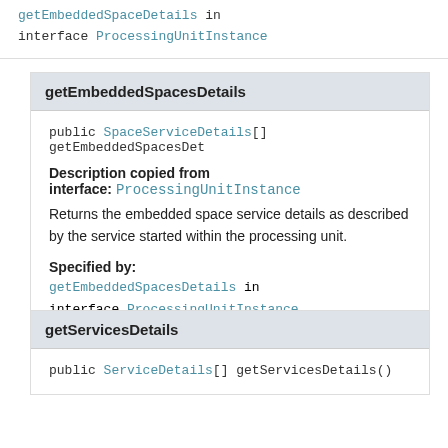getEmbeddedSpaceDetails in interface ProcessingUnitInstance
getEmbeddedSpacesDetails
public SpaceServiceDetails[] getEmbeddedSpacesDet...
Description copied from interface: ProcessingUnitInstance
Returns the embedded space service details as described by the service started within the processing unit.
Specified by:
getEmbeddedSpacesDetails in interface ProcessingUnitInstance
getServicesDetails
public ServiceDetails[] getServicesDetails()